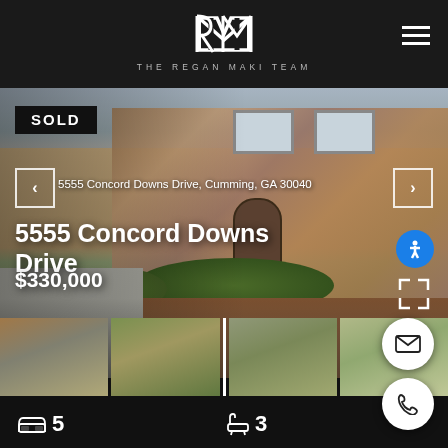[Figure (logo): The Regan Maki Team logo - stylized RM monogram in white on dark background]
THE REGAN MAKI TEAM
[Figure (photo): Exterior photo of a two-story brick home at 5555 Concord Downs Drive with landscaped front yard]
SOLD
5555 Concord Downs Drive, Cumming, GA 30040
5555 Concord Downs Drive
$330,000
[Figure (photo): Thumbnail images of the property showing front exterior views]
5
3